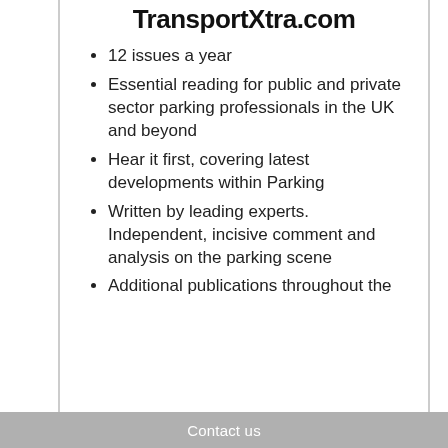TransportXtra.com
12 issues a year
Essential reading for public and private sector parking professionals in the UK and beyond
Hear it first, covering latest developments within Parking
Written by leading experts.  Independent, incisive comment and analysis on the parking scene
Additional publications throughout the...
Contact us